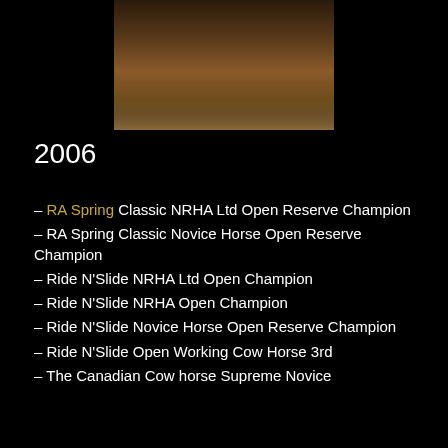[Figure (photo): A horse and rider performing a sliding stop in an indoor arena, kicking up dirt, with sponsor banners visible in the background.]
2006
– RA Spring Classic NRHA Ltd Open Reserve Champion
– RA Spring Classic Novice Horse Open Reserve Champion
– Ride N'Slide NRHA Ltd Open Champion
– Ride N'Slide NRHA Open Champion
– Ride N'Slide Novice Horse Open Reserve Champion
– Ride N'Slide Open Working Cow Horse 3rd
– The Canadian Cow horse Supreme Novice